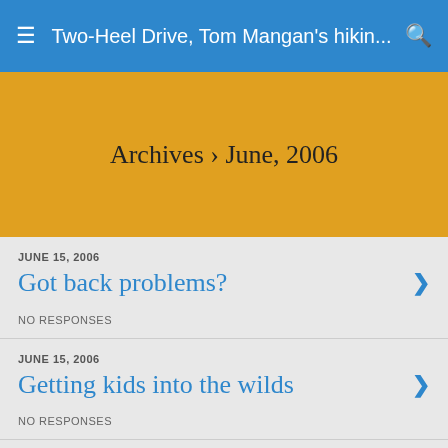Two-Heel Drive, Tom Mangan's hikin...
Archives › June, 2006
JUNE 15, 2006
Got back problems?
NO RESPONSES
JUNE 15, 2006
Getting kids into the wilds
NO RESPONSES
JUNE 14, 2006